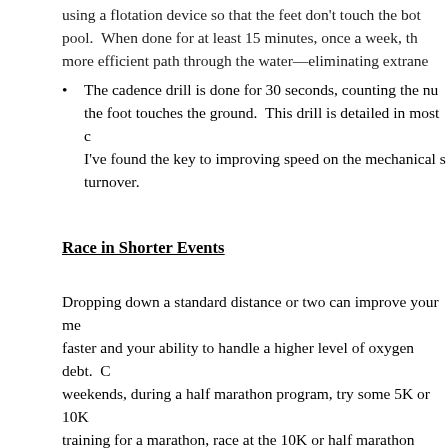using a flotation device so that the feet don't touch the bottom of the pool.  When done for at least 15 minutes, once a week, this creates a more efficient path through the water—eliminating extraneous motion.
The cadence drill is done for 30 seconds, counting the number of times the foot touches the ground.  This drill is detailed in most of my books. I've found the key to improving speed on the mechanical side is leg turnover.
Race in Shorter Events
Dropping down a standard distance or two can improve your mechanics, faster and your ability to handle a higher level of oxygen debt.  On weekends, during a half marathon program, try some 5K or 10K races. If training for a marathon, race at the 10K or half marathon distance.  The pace of the shorter distance may seem awkward.  But after several races, will adapt—especially if you do some speed training for the shorter race. These performance improvements can translate into faster times at longer distances.  My book 5K/10K details the training and the racing strategies for these events.